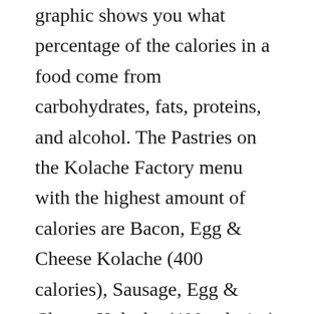graphic shows you what percentage of the calories in a food come from carbohydrates, fats, proteins, and alcohol. The Pastries on the Kolache Factory menu with the highest amount of calories are Bacon, Egg & Cheese Kolache (400 calories), Sausage, Egg & Cheese Kolache (400 calories) and Ranchero Kolache (340 calories). 41 % 12g Fat. You might also hear them called klobasnek or klobasnicky. Faust has been making kolaches since she was a teenager and has won the kolache bake contest at the festival. Log Food. You'd need to walk 70 minutes to burn 250 calories. 270 calories (1 kilojoules) are in 1 kolache - it is the same (calorie-wise) to 1.35 pack mini fudge strips cookies. 4.15 packet orange flavor gelatin